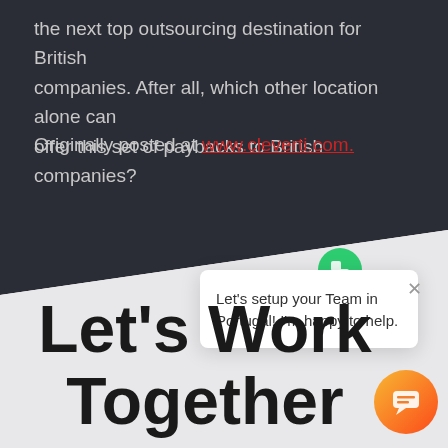the next top outsourcing destination for British companies. After all, which other location alone can offer this set of paybacks to British companies?
Originally posted at www.cleverti.com.
[Figure (screenshot): Chat popup widget with message: Let's setup your Team in Portugal! I'm happy to help. Green icon at top with chat/team symbol, X close button.]
Let's Work Together